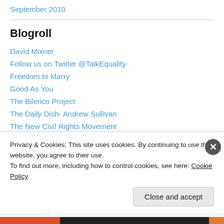September 2010
Blogroll
David Mixner
Follow us on Twitter @TalkEquality
Freedom to Marry
Good As You
The Bilerico Project
The Daily Dish- Andrew Sullivan
The New Civil Rights Movement
The New Gay
TowleRoad
Privacy & Cookies: This site uses cookies. By continuing to use this website, you agree to their use. To find out more, including how to control cookies, see here: Cookie Policy
Close and accept